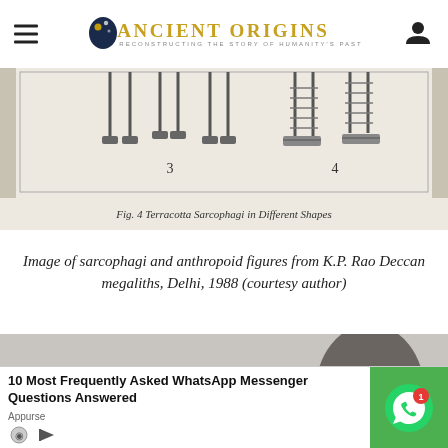Ancient Origins — Reconstructing the story of humanity's past
[Figure (illustration): Partial view of a figure showing numbered terracotta sarcophagi illustrations (numbers 3 and 4 visible), with a caption reading 'Fig. 4 Terracotta Sarcophagi in Different Shapes']
Image of sarcophagi and anthropoid figures from K.P. Rao Deccan megaliths, Delhi, 1988 (courtesy author)
[Figure (photo): Black and white photograph of megalithic stones outdoors]
10 Most Frequently Asked WhatsApp Messenger Questions Answered
Appurse